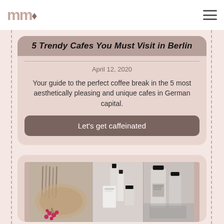mm (logo) | hamburger menu
5 Trendy Cafes You Must Visit in Berlin
April 12, 2020
Your guide to the perfect coffee break in the 5 most aesthetically pleasing and unique cafes in German capital.
Let's get caffeinated
[Figure (photo): Flatlay photo of makeup brushes, perfume bottles, and cosmetics products arranged on a surface with pink berries]